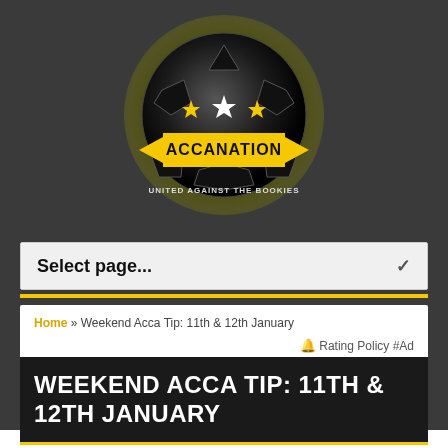[Figure (logo): AccaNation logo — soccer ball with stars and yellow banner reading ACCANATION, tagline UNITED AGAINST THE BOOKIES]
Select page...
Home » Weekend Acca Tip: 11th & 12th January
🔔 Rating Policy #Ad
WEEKEND ACCA TIP: 11TH & 12TH JANUARY
It was a tough old weekend for predicting results last time out, but that is what the FA Cup gives you,